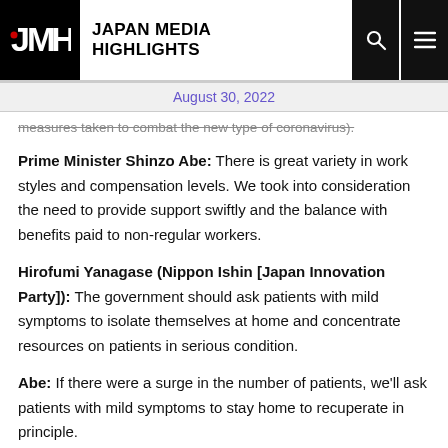Japan Media Highlights
August 30, 2022
measures taken to combat the new type of coronavirus).
Prime Minister Shinzo Abe: There is great variety in work styles and compensation levels. We took into consideration the need to provide support swiftly and the balance with benefits paid to non-regular workers.
Hirofumi Yanagase (Nippon Ishin [Japan Innovation Party]): The government should ask patients with mild symptoms to isolate themselves at home and concentrate resources on patients in serious condition.
Abe: If there were a surge in the number of patients, we'll ask patients with mild symptoms to stay home to recuperate in principle.